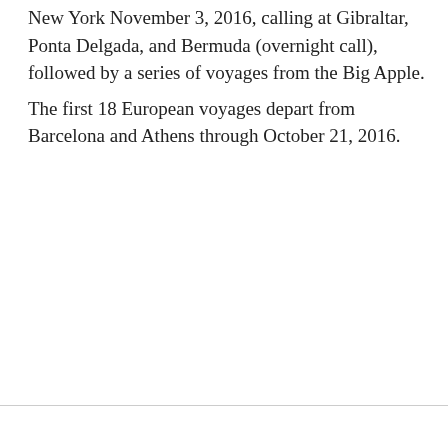New York November 3, 2016, calling at Gibraltar, Ponta Delgada, and Bermuda (overnight call), followed by a series of voyages from the Big Apple.
The first 18 European voyages depart from Barcelona and Athens through October 21, 2016.